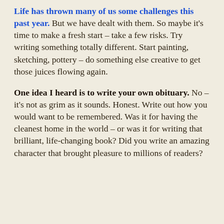Life has thrown many of us some challenges this past year. But we have dealt with them. So maybe it's time to make a fresh start – take a few risks. Try writing something totally different. Start painting, sketching, pottery – do something else creative to get those juices flowing again.
One idea I heard is to write your own obituary. No – it's not as grim as it sounds. Honest. Write out how you would want to be remembered. Was it for having the cleanest home in the world – or was it for writing that brilliant, life-changing book? Did you write an amazing character that brought pleasure to millions of readers?